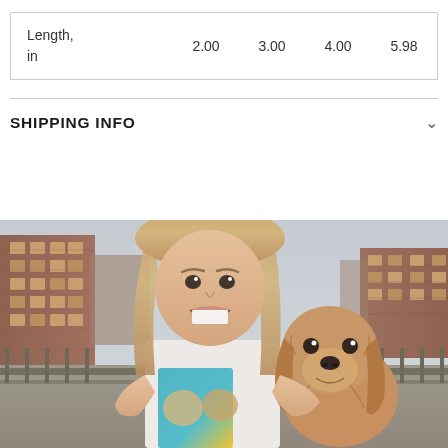|  |  |  |  |  |
| --- | --- | --- | --- | --- |
| Length, in | 2.00 | 3.00 | 4.00 | 5.98 |
SHIPPING INFO
[Figure (photo): A smiling woman with long blonde hair wearing a white graphic t-shirt, holding a golden/brown cocker spaniel dog, photographed outdoors with brick buildings and a railing/bridge visible in the background.]